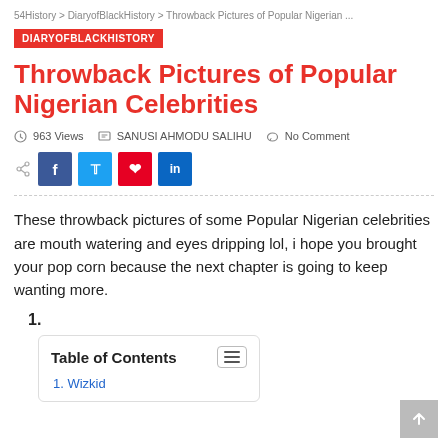54History > DiaryofBlackHistory > Throwback Pictures of Popular Nigerian ...
DIARYOFBLACKHISTORY
Throwback Pictures of Popular Nigerian Celebrities
963 Views   SANUSI AHMODU SALIHU   No Comment
These throwback pictures of some Popular Nigerian celebrities are mouth watering and eyes dripping lol, i hope you brought your pop corn because the next chapter is going to keep wanting more.
1.
Table of Contents  1. Wizkid